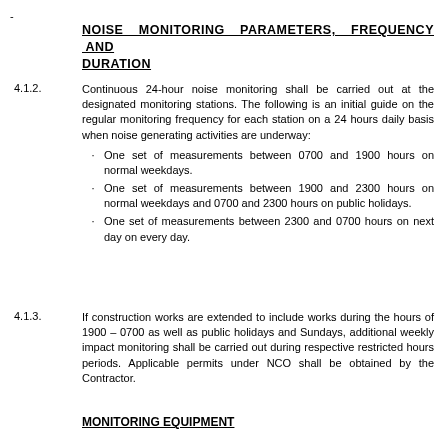-
NOISE MONITORING PARAMETERS, FREQUENCY AND DURATION
4.1.2.    Continuous 24-hour noise monitoring shall be carried out at the designated monitoring stations. The following is an initial guide on the regular monitoring frequency for each station on a 24 hours daily basis when noise generating activities are underway:
One set of measurements between 0700 and 1900 hours on normal weekdays.
One set of measurements between 1900 and 2300 hours on normal weekdays and 0700 and 2300 hours on public holidays.
One set of measurements between 2300 and 0700 hours on next day on every day.
4.1.3.    If construction works are extended to include works during the hours of 1900 – 0700 as well as public holidays and Sundays, additional weekly impact monitoring shall be carried out during respective restricted hours periods. Applicable permits under NCO shall be obtained by the Contractor.
MONITORING EQUIPMENT